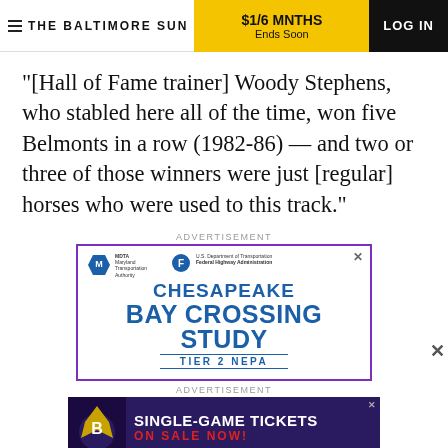THE BALTIMORE SUN | $1/6 MNTHS Ends Soon | LOG IN
"[Hall of Fame trainer] Woody Stephens, who stabled here all of the time, won five Belmonts in a row (1982-86) — and two or three of those winners were just [regular] horses who were used to this track."
ADVERTISEMENT
[Figure (other): Advertisement for Chesapeake Bay Crossing Study Tier 2 NEPA by Maryland Transportation Authority and Federal Highway Administration]
ADVERTISEMENT
[Figure (other): Advertisement for Baltimore Ravens Single-Game Tickets On Sale Now]